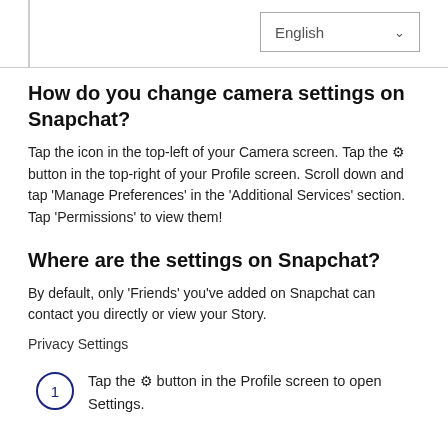[Figure (screenshot): Language selector dropdown showing 'English' with a chevron arrow, top-right of page]
How do you change camera settings on Snapchat?
Tap the icon in the top-left of your Camera screen. Tap the ⚙ button in the top-right of your Profile screen. Scroll down and tap 'Manage Preferences' in the 'Additional Services' section. Tap 'Permissions' to view them!
Where are the settings on Snapchat?
By default, only 'Friends' you've added on Snapchat can contact you directly or view your Story.
Privacy Settings
Tap the ⚙ button in the Profile screen to open Settings.